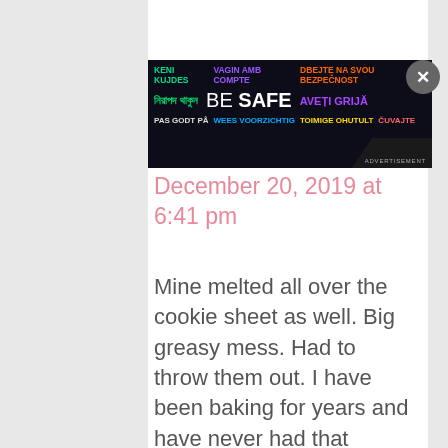[Figure (other): Advertisement banner with multilingual 'BE SAFE' text on dark background. Lines include: 'KENI KUJDES VAGIN AMB COMPTE DBEJTE NA SVOU BEZPEČNOST', 'নিরাপদ থাকুন BE SAFE AVETI GRIJA', 'PAS GODT PÅ WEES VOORZICHTIG TOIMIGE OHUTULT ČUVAJTE'. Close/X button in upper right corner.]
December 20, 2019 at 6:41 pm
Mine melted all over the cookie sheet as well. Big greasy mess. Had to throw them out. I have been baking for years and have never had that happen. I followed the recipe exactly. My dough was chilled for several hours and was very cold. I used butter (not